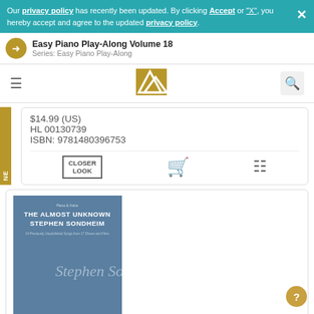Our privacy policy has recently been updated. By clicking Accept or "X", you hereby accept and agree to the updated privacy policy.
Easy Piano Play-Along Volume 18
Series: Easy Piano Play-Along
$14.99 (US)
HL 00130739
ISBN: 9781480396753
[Figure (screenshot): CLOSER LOOK button, shopping cart icon, and menu/list icon]
[Figure (photo): Book cover for 'The Almost Unknown Stephen Sondheim' - blue cover with white title text and cursive signature]
THE ALMOST UNKNOWN STEPHEN SONDHEIM